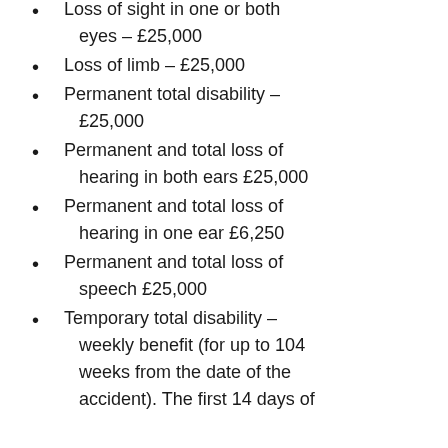Loss of sight in one or both eyes – £25,000
Loss of limb – £25,000
Permanent total disability – £25,000
Permanent and total loss of hearing in both ears £25,000
Permanent and total loss of hearing in one ear £6,250
Permanent and total loss of speech £25,000
Temporary total disability – weekly benefit (for up to 104 weeks from the date of the accident). The first 14 days of